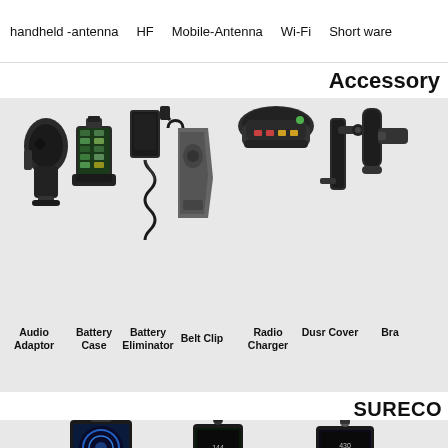handheld -antenna   HF   Mobile-Antenna   Wi-Fi   Short ware
Accessory
[Figure (photo): Radio accessories including Audio Adaptor, Battery Case, Battery Eliminator, Belt Clip, Radio Charger, Dusr Cover, Bra (bracket)]
Audio Adaptor   Battery Case   Battery Eliminator   Belt Clip   Radio Charger   Dusr Cover   Bra
SURECO
[Figure (photo): Three SURECO electronic devices/meters with displays and connectors shown from front view]